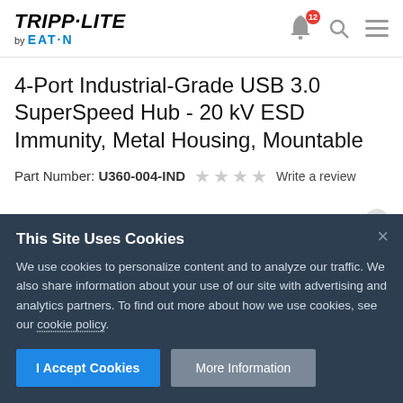[Figure (logo): Tripp-Lite by Eaton logo in top left of header]
4-Port Industrial-Grade USB 3.0 SuperSpeed Hub - 20 kV ESD Immunity, Metal Housing, Mountable
Part Number: U360-004-IND    ☆☆☆☆  Write a review
This Site Uses Cookies
We use cookies to personalize content and to analyze our traffic. We also share information about your use of our site with advertising and analytics partners. To find out more about how we use cookies, see our cookie policy.
I Accept Cookies   More Information